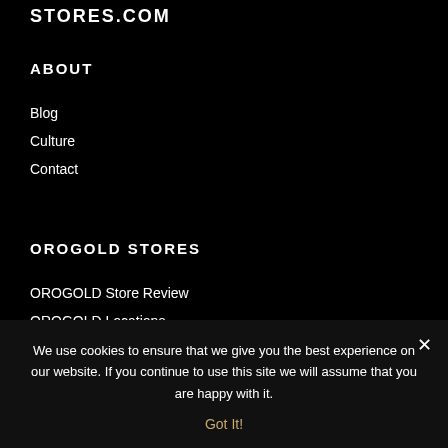STORES.COM
ABOUT
Blog
Culture
Contact
OROGOLD STORES
OROGOLD Store Review
OROGOLD Locations
OROGOLD Refund Polic…
We use cookies to ensure that we give you the best experience on our website. If you continue to use this site we will assume that you are happy with it.
Got It!